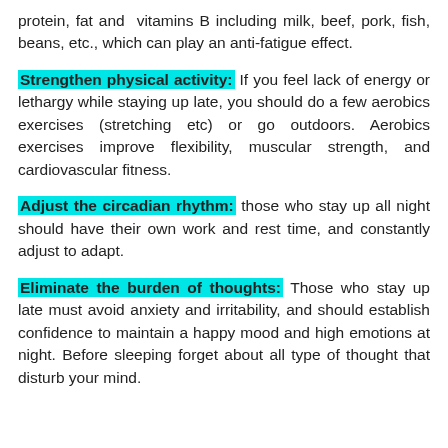protein, fat and vitamins B including milk, beef, pork, fish, beans, etc., which can play an anti-fatigue effect.
Strengthen physical activity: If you feel lack of energy or lethargy while staying up late, you should do a few aerobics exercises (stretching etc) or go outdoors. Aerobics exercises improve flexibility, muscular strength, and cardiovascular fitness.
Adjust the circadian rhythm: those who stay up all night should have their own work and rest time, and constantly adjust to adapt.
Eliminate the burden of thoughts: Those who stay up late must avoid anxiety and irritability, and should establish confidence to maintain a happy mood and high emotions at night. Before sleeping forget about all type of thought that disturb your mind.